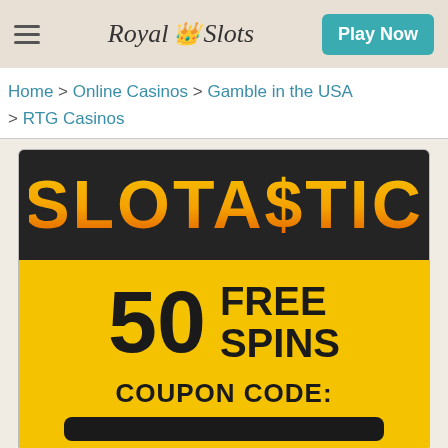Royal Slots — Play Now
Home > Online Casinos > Gamble in the USA > RTG Casinos
[Figure (screenshot): Slotastic casino promotional banner showing '50 FREE SPINS' and 'COUPON CODE:' text on a yellow background with dark header showing the Slotastic logo in orange gradient letters]